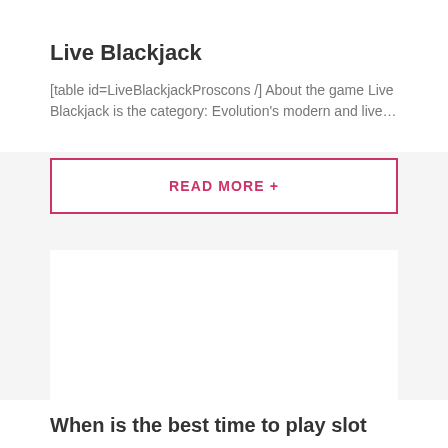Live Blackjack
[table id=LiveBlackjackProscons /] About the game Live Blackjack is the category: Evolution's modern and live…
READ MORE +
[Figure (other): White card/image placeholder block]
When is the best time to play slot